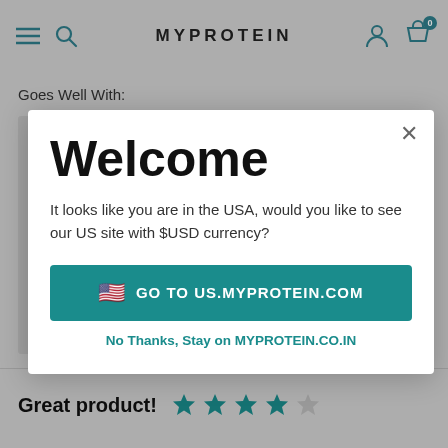MYPROTEIN
Goes Well With:
[Figure (screenshot): Welcome modal popup on Myprotein website asking user to switch to US site with USD currency. Contains a teal 'Go to US.MYPROTEIN.COM' button and a 'No Thanks, Stay on MYPROTEIN.CO.IN' link.]
Great product!
[Figure (other): 4 out of 5 star rating shown in teal stars]